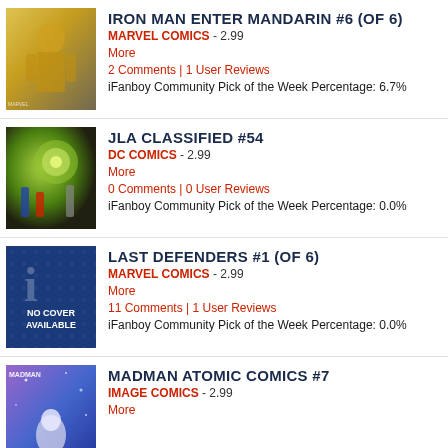IRON MAN ENTER MANDARIN #6 (OF 6)
MARVEL COMICS - 2.99
More
2 Comments | 1 User Reviews
iFanboy Community Pick of the Week Percentage: 6.7%
JLA CLASSIFIED #54
DC COMICS - 2.99
More
0 Comments | 0 User Reviews
iFanboy Community Pick of the Week Percentage: 0.0%
LAST DEFENDERS #1 (OF 6)
MARVEL COMICS - 2.99
More
11 Comments | 1 User Reviews
iFanboy Community Pick of the Week Percentage: 0.0%
MADMAN ATOMIC COMICS #7
IMAGE COMICS - 2.99
More